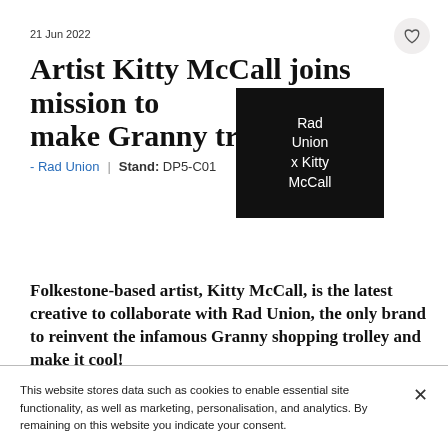21 Jun 2022
Artist Kitty McCall joins mission to make Granny trolley cool!
- Rad Union  |  Stand: DP5-C01
[Figure (illustration): Black square overlay with white text reading 'Rad Union x Kitty McCall']
Folkestone-based artist, Kitty McCall, is the latest creative to collaborate with Rad Union, the only brand to reinvent the infamous Granny shopping trolley and make it cool!
This website stores data such as cookies to enable essential site functionality, as well as marketing, personalisation, and analytics. By remaining on this website you indicate your consent.